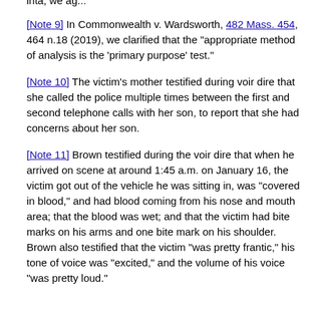inta, we ag...
[Note 9] In Commonwealth v. Wardsworth, 482 Mass. 454, 464 n.18 (2019), we clarified that the "appropriate method of analysis is the 'primary purpose' test."
[Note 10] The victim's mother testified during voir dire that she called the police multiple times between the first and second telephone calls with her son, to report that she had concerns about her son.
[Note 11] Brown testified during the voir dire that when he arrived on scene at around 1:45 a.m. on January 16, the victim got out of the vehicle he was sitting in, was "covered in blood," and had blood coming from his nose and mouth area; that the blood was wet; and that the victim had bite marks on his arms and one bite mark on his shoulder. Brown also testified that the victim "was pretty frantic," his tone of voice was "excited," and the volume of his voice "was pretty loud."